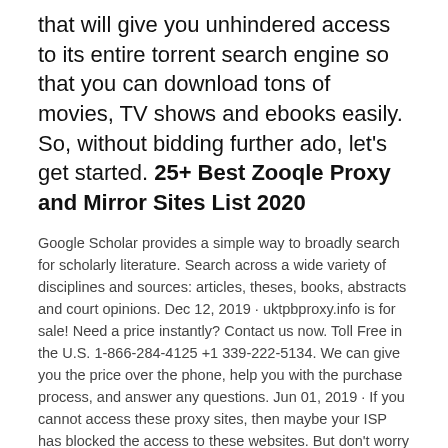that will give you unhindered access to its entire torrent search engine so that you can download tons of movies, TV shows and ebooks easily. So, without bidding further ado, let's get started. 25+ Best Zooqle Proxy and Mirror Sites List 2020
Google Scholar provides a simple way to broadly search for scholarly literature. Search across a wide variety of disciplines and sources: articles, theses, books, abstracts and court opinions. Dec 12, 2019 · uktpbproxy.info is for sale! Need a price instantly? Contact us now. Toll Free in the U.S. 1-866-284-4125 +1 339-222-5134. We can give you the price over the phone, help you with the purchase process, and answer any questions. Jun 01, 2019 · If you cannot access these proxy sites, then maybe your ISP has blocked the access to these websites. But don't worry there are many alternatives available that you can use to unblock them to bide by the law...